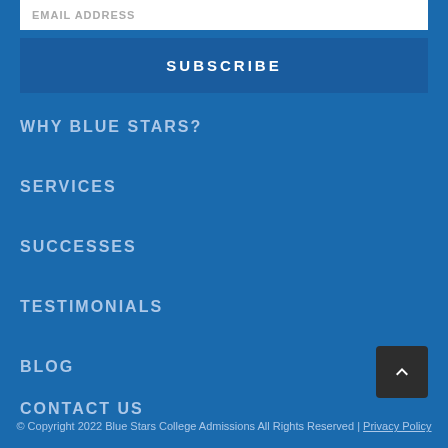EMAIL ADDRESS
SUBSCRIBE
WHY BLUE STARS?
SERVICES
SUCCESSES
TESTIMONIALS
BLOG
CONTACT US
© Copyright 2022 Blue Stars College Admissions All Rights Reserved | Privacy Policy